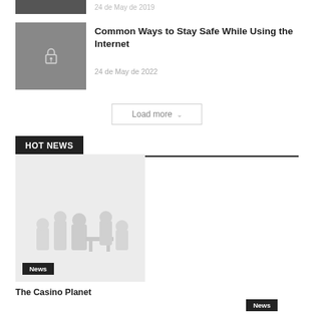[Figure (photo): Partially visible image at top, cropped]
24 de May de 2019
Common Ways to Stay Safe While Using the Internet
[Figure (photo): Dark background with white padlock icon]
24 de May de 2022
Load more
HOT NEWS
[Figure (photo): Light grey background with white Lego-style toy figures]
News
The Casino Planet
News